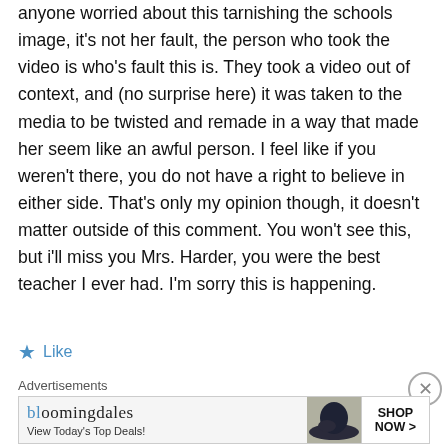anyone worried about this tarnishing the schools image, it's not her fault, the person who took the video is who's fault this is. They took a video out of context, and (no surprise here) it was taken to the media to be twisted and remade in a way that made her seem like an awful person. I feel like if you weren't there, you do not have a right to believe in either side. That's only my opinion though, it doesn't matter outside of this comment. You won't see this, but i'll miss you Mrs. Harder, you were the best teacher I ever had. I'm sorry this is happening.
★ Like
Advertisements
[Figure (other): Bloomingdale's advertisement banner showing logo, 'View Today's Top Deals!' text, a woman wearing a wide brim hat, and a 'SHOP NOW >' button.]